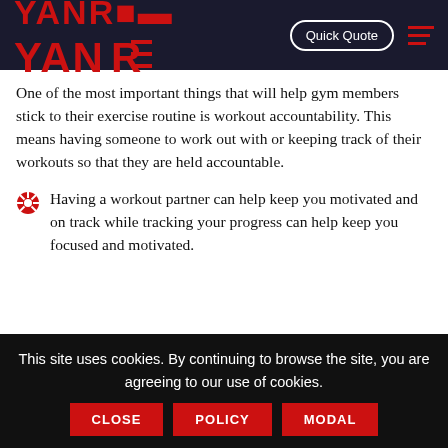YANRE | Quick Quote
One of the most important things that will help gym members stick to their exercise routine is workout accountability. This means having someone to work out with or keeping track of their workouts so that they are held accountable.
Having a workout partner can help keep you motivated and on track while tracking your progress can help keep you focused and motivated.
This site uses cookies. By continuing to browse the site, you are agreeing to our use of cookies. CLOSE | POLICY | MODAL